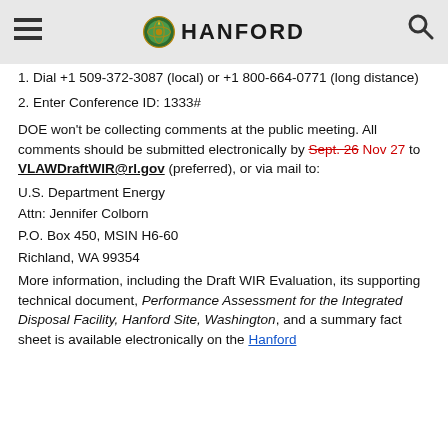Hanford
1. Dial +1 509-372-3087 (local) or +1 800-664-0771 (long distance)
2. Enter Conference ID: 1333#
DOE won't be collecting comments at the public meeting. All comments should be submitted electronically by Sept. 26 Nov 27 to VLAWDraftWIR@rl.gov (preferred), or via mail to:
U.S. Department Energy
Attn: Jennifer Colborn
P.O. Box 450, MSIN H6-60
Richland, WA 99354
More information, including the Draft WIR Evaluation, its supporting technical document, Performance Assessment for the Integrated Disposal Facility, Hanford Site, Washington, and a summary fact sheet is available electronically on the Hanford